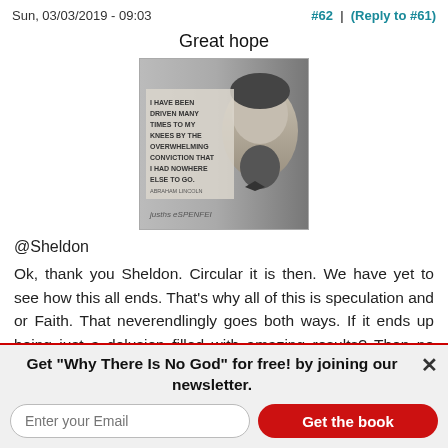Sun, 03/03/2019 - 09:03    #62 | (Reply to #61)
Great hope
[Figure (photo): Black and white photo of Abraham Lincoln with overlaid quote text: 'I HAVE BEEN DRIVEN MANY TIMES TO MY KNEES BY THE OVERWHELMING CONVICTION THAT I HAD NOWHERE ELSE TO GO. ABRAHAM LINCOLN']
@Sheldon
Ok, thank you Sheldon. Circular it is then. We have yet to see how this all ends. That's why all of this is speculation and or Faith. That neverendlingly goes both ways. If it ends up being just a delusion filled with amazing results? Then no one will ever know. But, if it's real? Well then, you can fill in the blank
Get "Why There Is No God" for free! by joining our newsletter.